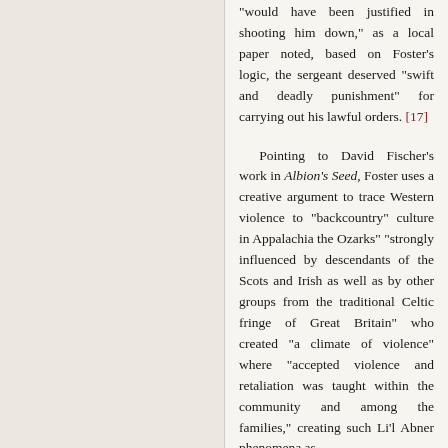"would have been justified in shooting him down," as a local paper noted, based on Foster's logic, the sergeant deserved "swift and deadly punishment" for carrying out his lawful orders. [17]
Pointing to David Fischer's work in Albion's Seed, Foster uses a creative argument to trace Western violence to "backcountry" culture in Appalachia the Ozarks" "strongly influenced by descendants of the Scots and Irish as well as by other groups from the traditional Celtic fringe of Great Britain" who created "a climate of violence" where "accepted violence and retaliation was taught within the community and among the families," creating such Li'l Abner phenomena as